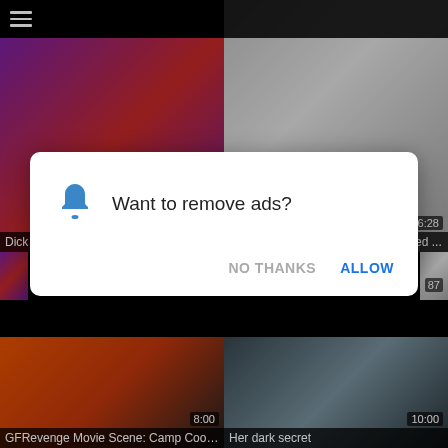[Figure (screenshot): Video thumbnail grid with top navigation bar, showing 6 video thumbnails with titles and durations, overlaid by a browser notification permission dialog asking 'Want to remove ads?' with NO THANKS and ALLOW buttons]
Dick in a music club
5:00
Anna my sister having a Marlboro red ...
6:28
GFRevenge Movie Scene: Camp Cooch
8:00
Her dark secret
10:00
Want to remove ads?
NO THANKS
ALLOW